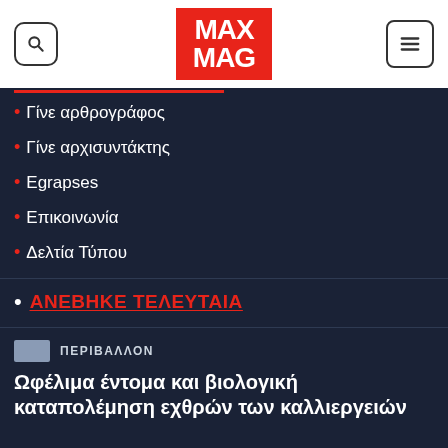[Figure (logo): MaxMag logo - red rectangle with white MAX MAG text]
Γίνε αρθρογράφος
Γίνε αρχισυντάκτης
Egrapses
Επικοινωνία
Δελτία Τύπου
ΑΝΕΒΗΚΕ ΤΕΛΕΥΤΑΙΑ
ΠΕΡΙΒΑΛΛΟΝ
Ωφέλιμα έντομα και βιολογική καταπολέμηση εχθρών των καλλιεργειών